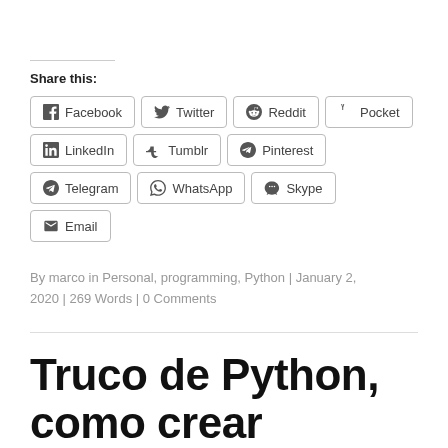Share this:
Facebook  Twitter  Reddit  Pocket  LinkedIn  Tumblr  Pinterest  Telegram  WhatsApp  Skype  Email
By marco in Personal, programming, Python | January 2, 2020 | 269 Words | 0 Comments
Truco de Python, como crear objetos